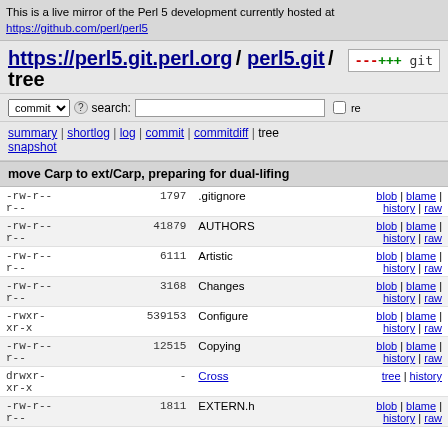This is a live mirror of the Perl 5 development currently hosted at https://github.com/perl/perl5
https://perl5.git.perl.org / perl5.git / tree
commit search: re
summary | shortlog | log | commit | commitdiff | tree snapshot
move Carp to ext/Carp, preparing for dual-lifing
| permissions | size | filename | actions |
| --- | --- | --- | --- |
| -rw-r--r-- | 1797 | .gitignore | blob | blame | history | raw |
| -rw-r--r-- | 41879 | AUTHORS | blob | blame | history | raw |
| -rw-r--r-- | 6111 | Artistic | blob | blame | history | raw |
| -rw-r--r-- | 3168 | Changes | blob | blame | history | raw |
| -rwxr-xr-x | 539153 | Configure | blob | blame | history | raw |
| -rw-r--r-- | 12515 | Copying | blob | blame | history | raw |
| drwxr-xr-x | - | Cross | tree | history |
| -rw-r--r-- | 1811 | EXTERN.h | blob | blame | history | raw |